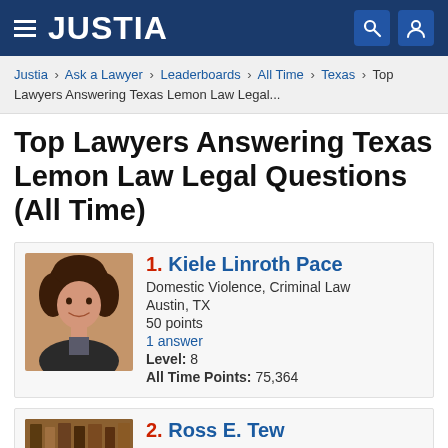JUSTIA
Justia › Ask a Lawyer › Leaderboards › All Time › Texas › Top Lawyers Answering Texas Lemon Law Legal...
Top Lawyers Answering Texas Lemon Law Legal Questions (All Time)
1. Kiele Linroth Pace
Domestic Violence, Criminal Law
Austin, TX
50 points
1 answer
Level: 8
All Time Points: 75,364
2. Ross E. Tew